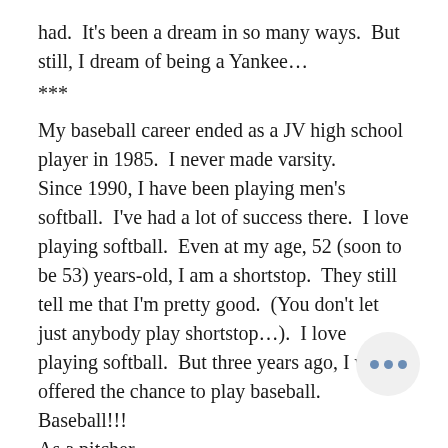had.  It's been a dream in so many ways.  But still, I dream of being a Yankee…
***
My baseball career ended as a JV high school player in 1985.  I never made varsity.
Since 1990, I have been playing men’s softball.  I’ve had a lot of success there.  I love playing softball.  Even at my age, 52 (soon to be 53) years-old, I am a shortstop.  They still tell me that I’m pretty good.  (You don’t let just anybody play shortstop…).  I love playing softball.  But three years ago, I was offered the chance to play baseball.
Baseball!!!
As a pitcher.
I pitched six games that year.  It was amazing.  I even threw a complete game